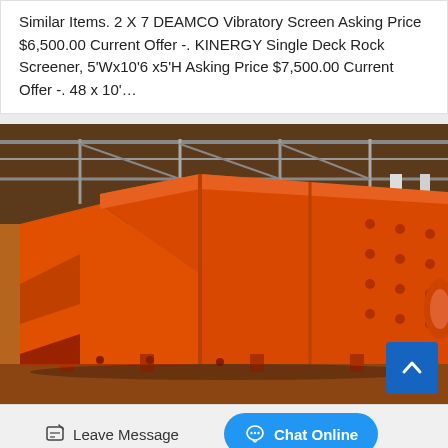Similar Items. 2 X 7 DEAMCO Vibratory Screen Asking Price $6,500.00 Current Offer -. KINERGY Single Deck Rock Screener, 5'Wx10'6 x5'H Asking Price $7,500.00 Current Offer -. 48 x 10'…
[Figure (photo): Photo of a large orange industrial vibratory screen machine inside a warehouse/factory with steel roof trusses visible in the background.]